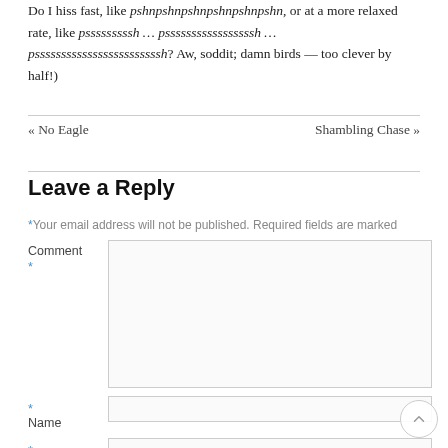Do I hiss fast, like pshnpshnpshnpshnpshnpshn, or at a more relaxed rate, like psssssssssh … psssssssssssssssssh … pssssssssssssssssssssssssh? Aw, soddit; damn birds — too clever by half!)
« No Eagle
Shambling Chase »
Leave a Reply
* Your email address will not be published. Required fields are marked
Comment *
* Name
* Email